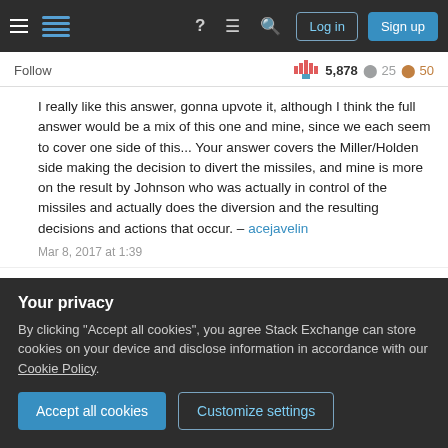Stack Exchange navigation bar with hamburger menu, logo, help, chat, search icons, Log in and Sign up buttons
Follow   5,878  25  50
I really like this answer, gonna upvote it, although I think the full answer would be a mix of this one and mine, since we each seem to cover one side of this... Your answer covers the Miller/Holden side making the decision to divert the missiles, and mine is more on the result by Johnson who was actually in control of the missiles and actually does the diversion and the resulting decisions and actions that occur. – acejavelin Mar 8, 2017 at 1:39
I agree that Miller probably wanted the missiles diverted...
Add a comment
Your privacy
By clicking "Accept all cookies", you agree Stack Exchange can store cookies on your device and disclose information in accordance with our Cookie Policy.
Accept all cookies   Customize settings